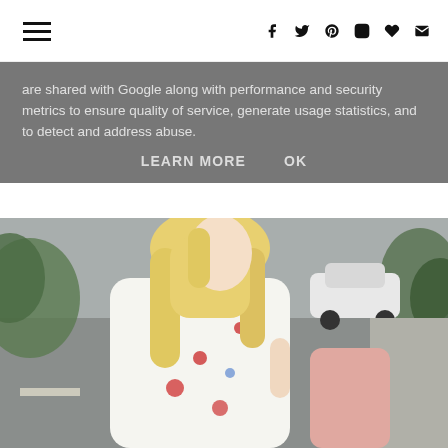Menu icon and social icons: facebook, twitter, pinterest, instagram, heart, email
are shared with Google along with performance and security metrics to ensure quality of service, generate usage statistics, and to detect and address abuse.
LEARN MORE   OK
[Figure (photo): Young blonde woman wearing a white floral dress with red and blue flowers, holding a pink jacket, standing on a suburban street with cars and trees in the background.]